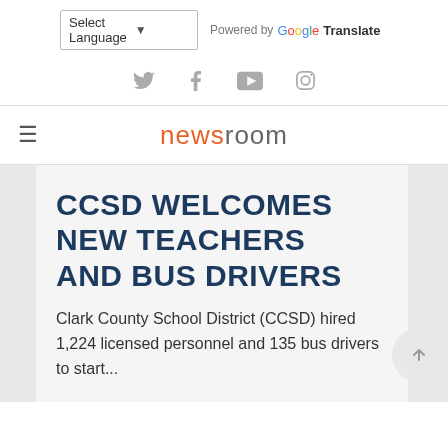Select Language | Powered by Google Translate
[Figure (other): Social media icons: Twitter, Facebook, YouTube, Instagram]
newsroom
CCSD WELCOMES NEW TEACHERS AND BUS DRIVERS
Clark County School District (CCSD) hired 1,224 licensed personnel and 135 bus drivers to start...